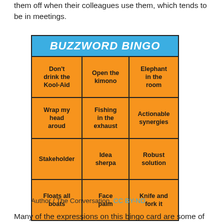them off when their colleagues use them, which tends to be in meetings.
[Figure (infographic): Buzzword Bingo card with a blue header reading 'BUZZWORD BINGO' and a 3x4 grid of orange cells containing buzzwords: 'Don't drink the Kool-Aid', 'Open the kimono', 'Elephant in the room', 'Wrap my head aroud', 'Fishing in the exhaust', 'Actionable synergies', 'Stakeholder', 'Idea sherpa', 'Robust solution', 'Floats all boats', 'Face palm', 'Knife and fork it']
Author / The Conversation, CC BY-ND
Many of the expressions on this bingo card are some of